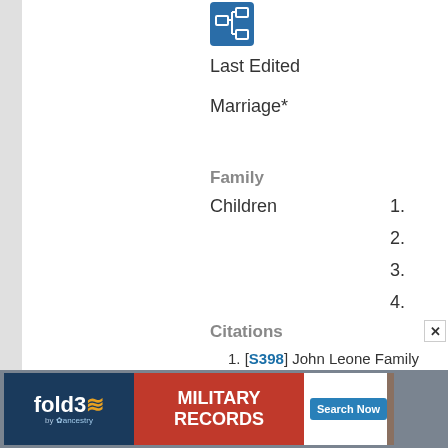[Figure (logo): Blue icon with white connected boxes (family tree icon)]
Last Edited
Marriage*
Family
Children
1.
2.
3.
4.
Citations
1. [S398] John Leone Family Tree.
Stephanie L. Skroski¹
F
[Figure (screenshot): fold3 by ancestry military records advertisement banner]